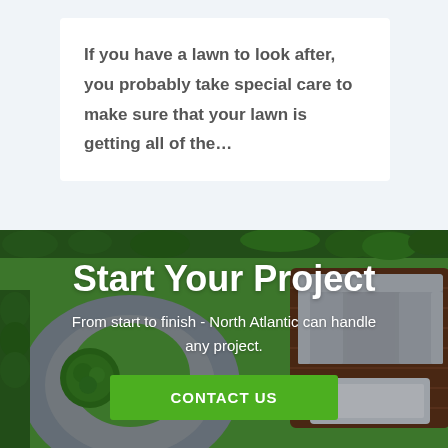If you have a lawn to look after, you probably take special care to make sure that your lawn is getting all of the...
[Figure (photo): Aerial/top-down view of a landscaped garden with green lawn, circular paved area with a trimmed shrub, wooden deck with outdoor sofa, and surrounding hedges and plants.]
Start Your Project
From start to finish - North Atlantic can handle any project.
CONTACT US